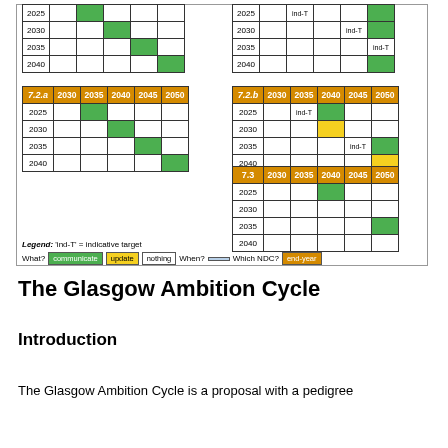[Figure (table-as-image): Grid of mini-tables (7.2.a, 7.2.b, 7.3) showing NDC communication/update schedule by year (2025-2040) and target years (2030-2050), color-coded: green=communicate, yellow=update, white=nothing, with ind-T labels for indicative targets. Legend: communicate=green, update=yellow, nothing=plain, When=blue, end-year=orange.]
The Glasgow Ambition Cycle
Introduction
The Glasgow Ambition Cycle is a proposal with a pedigree